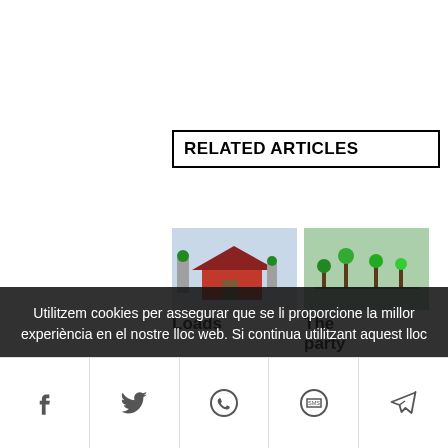RELATED ARTICLES
[Figure (photo): Thumbnail cartoon image - Loads]
Loads
[Figure (photo): Thumbnail cartoon image - The party]
The party
[Figure (photo): Thumbnail cartoon image - Tempe]
Tempe
[Figure (photo): Thumbnail photo - Primate]
Primate
[Figure (photo): Thumbnail image - Univers]
Univers
Utilitzem cookies per assegurar que se li proporcione la millor experiència en el nostre lloc web. Si continua utilitzant aquest lloc
[Social share bar: Facebook, Twitter, WhatsApp, SMS, Telegram]